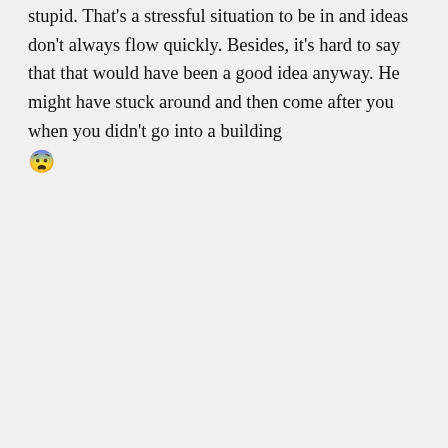stupid. That's a stressful situation to be in and ideas don't always flow quickly. Besides, it's hard to say that that would have been a good idea anyway. He might have stuck around and then come after you when you didn't go into a building 😨
★ Liked by 1 person
TwoHappyCats on July 31, 2017 at
Advertisements
[Figure (infographic): Day One app advertisement banner: 'Your Journal for life' on a cyan/blue background with phone mockup and Day One logo]